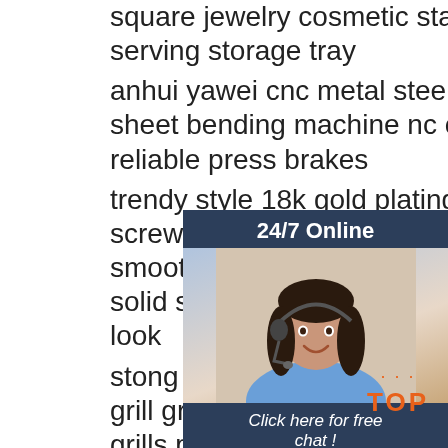square jewelry cosmetic stainless steel gold serving storage tray
anhui yawei cnc metal steel stainless plate sheet bending machine nc control h reliable press brakes
trendy style 18k gold plating geome screw twisted clip earring stainless s smooth chunky hoop earrings wome solid steel copper serving handi set look
[Figure (other): Customer service chat widget with a woman wearing headset, '24/7 Online' header, 'Click here for free chat!' text, and QUOTATION button]
stong 304 stainless steel 450mm round bbq grill grate barbecue racks carbon baking net grills pan grate 5mm wire 10mm space
side tables modern round white marble
[Figure (logo): TOP logo with orange dots above and orange bold text 'TOP']